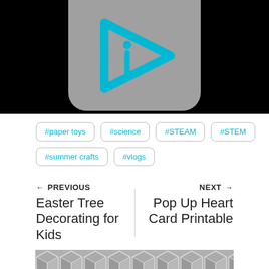[Figure (logo): Gray rounded rectangle with cyan play-button/i logo on black background]
#paper toys
#science
#STEAM
#STEM
#summer crafts
#vlogs
← PREVIOUS
Easter Tree Decorating for Kids
NEXT →
Pop Up Heart Card Printable
[Figure (illustration): Gray geometric hexagonal/cube pattern at bottom of page]